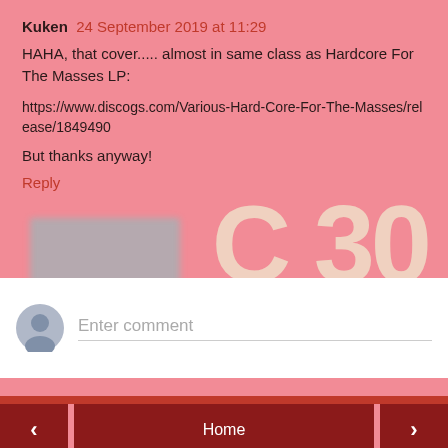Kuken  24 September 2019 at 11:29
HAHA, that cover..... almost in same class as Hardcore For The Masses LP:
https://www.discogs.com/Various-Hard-Core-For-The-Masses/release/1849490
But thanks anyway!
Reply
Enter comment
Home
View web version
Powered by Blogger.